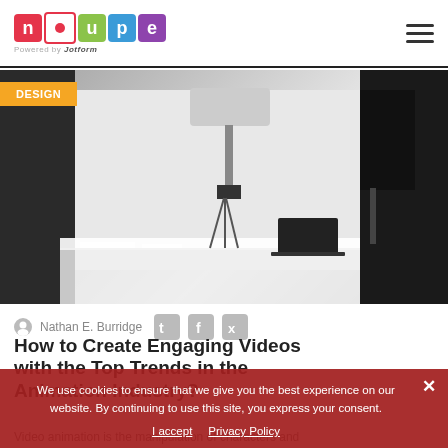noupe — Powered by Jotform
[Figure (photo): Video/photo studio setup with camera on tripod, laptop on desk, lighting equipment, black background panels]
DESIGN
Nathan E. Burridge
How to Create Engaging Videos with the Top Trends in the Animation Industry?
We use cookies to ensure that we give you the best experience on our website. By continuing to use this site, you express your consent.
I accept   Privacy Policy
Video animation is the manipulation of characters and